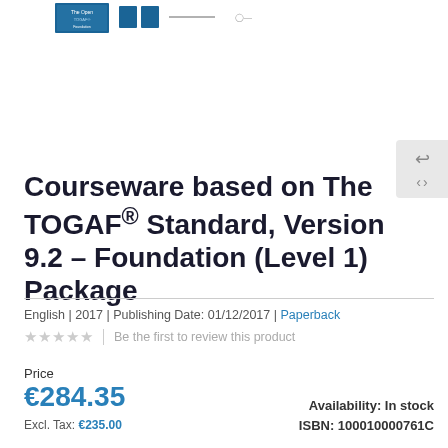[Figure (illustration): Small book cover thumbnails at the top of the page for the TOGAF product]
Courseware based on The TOGAF® Standard, Version 9.2 – Foundation (Level 1) Package
English | 2017 | Publishing Date: 01/12/2017 | Paperback
★★★★★  |  Be the first to review this product
Price
€284.35
Excl. Tax: €235.00
Availability: In stock
ISBN:  100010000761C